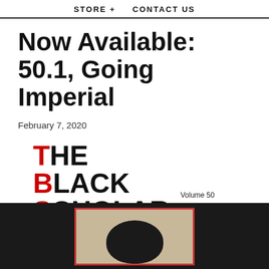STORE +   CONTACT US
Now Available: 50.1, Going Imperial
February 7, 2020
[Figure (logo): The Black Scholar magazine logo with large bold letters TBS stacked vertically, T in red, B in red, S in red, rest in black, with volume info: Volume 50 Number 1 Spring 2020]
[Figure (photo): Bottom portion of magazine cover showing dark background with a framed portrait photo of a person, partially visible from bottom of page]